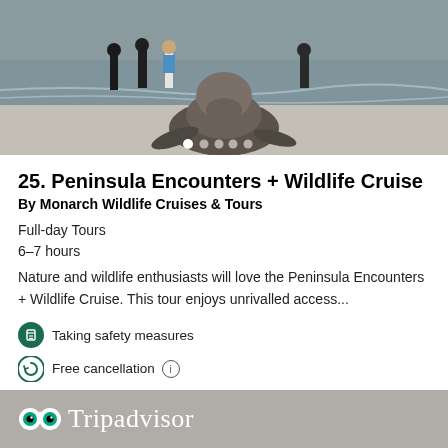[Figure (photo): Beach scene with people standing in background and a large sea lion/elephant seal in the foreground on sandy beach with ocean waves]
25. Peninsula Encounters + Wildlife Cruise
By Monarch Wildlife Cruises & Tours
Full-day Tours
6–7 hours
Nature and wildlife enthusiasts will love the Peninsula Encounters + Wildlife Cruise. This tour enjoys unrivalled access...
Taking safety measures
Free cancellation
from
US$112.89
per adult
[Figure (logo): Tripadvisor logo on grey background]